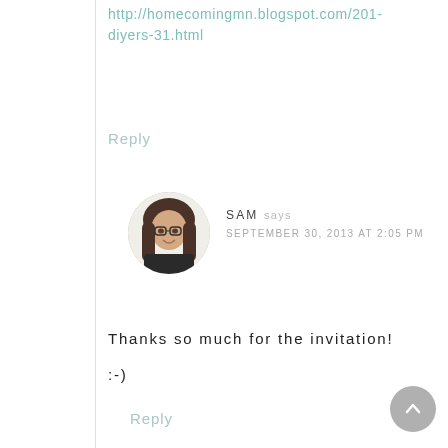http://homecomingmn.blogspot.com/201... diyers-31.html
Reply
[Figure (photo): Circular avatar photo of a woman with glasses and long brown hair, smiling, wearing a dark top, white background]
SAM says
SEPTEMBER 30, 2013 AT 2:05 PM
Thanks so much for the invitation!
:-)
Reply